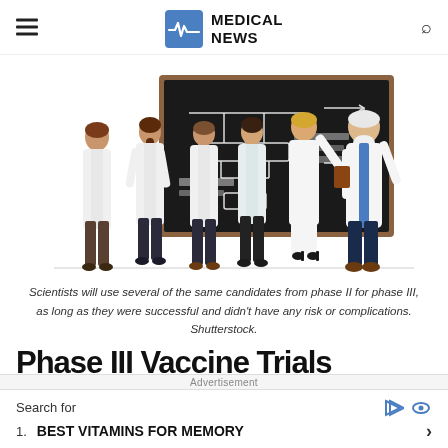MEDICAL NEWS
[Figure (illustration): Illustration of doctors in white lab coats standing in front of a dark chalkboard with diagrams; an older doctor with white beard stands to the right pointing at the board.]
Scientists will use several of the same candidates from phase II for phase III, as long as they were successful and didn't have any risk or complications. Shutterstock.
Phase III Vaccine Trials
Advertisement
Search for
1.  BEST VITAMINS FOR MEMORY